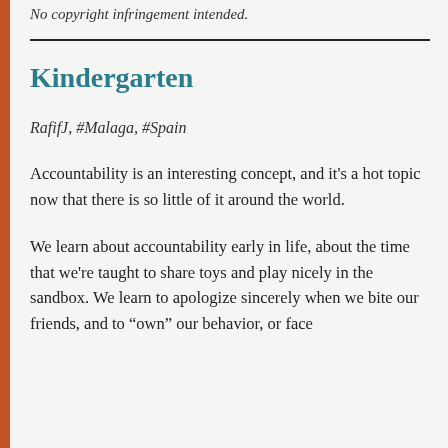No copyright infringement intended.
Kindergarten
RafifJ, #Malaga, #Spain
Accountability is an interesting concept, and it's a hot topic now that there is so little of it around the world.
We learn about accountability early in life, about the time that we're taught to share toys and play nicely in the sandbox. We learn to apologize sincerely when we bite our friends, and to “own” our behavior, or face